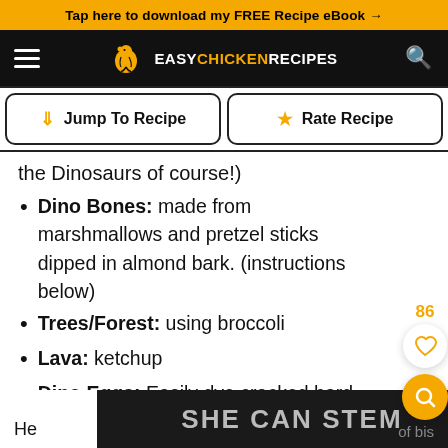Tap here to download my FREE Recipe eBook →
EASY CHICKEN RECIPES
Jump To Recipe   Rate Recipe
the Dinosaurs of course!)
Dino Bones: made from marshmallows and pretzel sticks dipped in almond bark. (instructions below)
Trees/Forest: using broccoli
Lava: ketchup
Dino Eggs: Easily dye cracked hard boiled eggs (instructions below)
[Figure (other): SHE CAN STEM advertisement banner overlay]
He                                           of bis